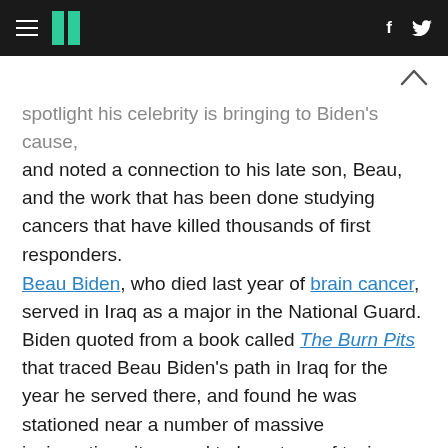HuffPost navigation header with hamburger menu, logo, and social icons (f, twitter)
spotlight his celebrity is bringing to Biden's cause, and noted a connection to his late son, Beau, and the work that has been done studying cancers that have killed thousands of first responders.
Beau Biden, who died last year of brain cancer, served in Iraq as a major in the National Guard. Biden quoted from a book called The Burn Pits that traced Beau Biden's path in Iraq for the year he served there, and found he was stationed near a number of massive incineration sites used to burn tons of toxic waste.